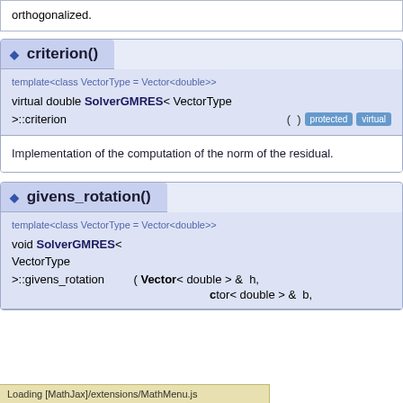orthogonalized.
criterion()
template<class VectorType = Vector<double>>
virtual double SolverGMRES< VectorType >::criterion  ( )  protected virtual
Implementation of the computation of the norm of the residual.
givens_rotation()
template<class VectorType = Vector<double>>
void SolverGMRES< VectorType >::givens_rotation  ( Vector< double > &  h,
ctor< double > &  b,
Loading [MathJax]/extensions/MathMenu.js